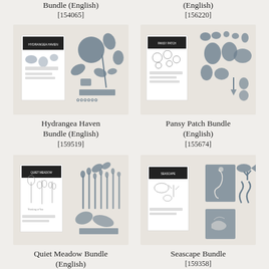Bundle (English)
[154065]
(English)
[156220]
[Figure (photo): Hydrangea Haven Bundle product photo showing stamp set and dies with hydrangea flower shapes]
[Figure (photo): Pansy Patch Bundle product photo showing stamp set and dies with pansy flower shapes]
Hydrangea Haven Bundle (English)
[159519]
Pansy Patch Bundle (English)
[155674]
[Figure (photo): Quiet Meadow Bundle product photo showing stamp set and dies with botanical/meadow plant shapes]
[Figure (photo): Seascape Bundle product photo showing stamp set and dies with ocean/sea creature shapes]
Quiet Meadow Bundle (English)
Seascape Bundle
[159358]